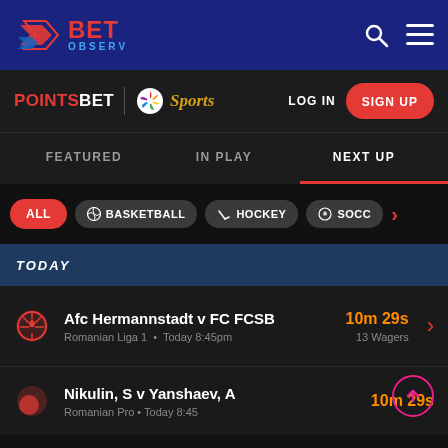[Figure (logo): BetObserv logo with red 3/arrow icon, blue '1BET' text and blue 'OBSERV' subtitle]
[Figure (screenshot): PointsBet mobile app interface showing NBC Sports partnership, navigation tabs (Featured, In Play, Next Up), sport filter pills (All, Basketball, Hockey, Soccer), Today section with match listings: Afc Hermannstadt v FC FCSB (Romanian Liga 1, Today 8:45pm, 10m 29s, 13 Wagers) and Nikulin, S v Yanshaev, A (10m 29s)]